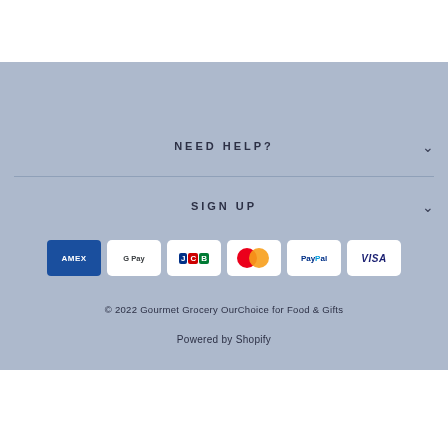NEED HELP?
SIGN UP
[Figure (logo): Payment method icons: American Express, Google Pay, JCB, Mastercard, PayPal, Visa]
© 2022 Gourmet Grocery OurChoice for Food & Gifts
Powered by Shopify